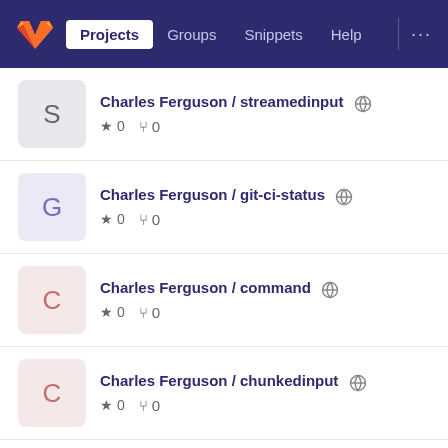Projects | Groups | Snippets | Help
Charles Ferguson / streamedinput ★ 0  0
Charles Ferguson / git-ci-status ★ 0  0
Charles Ferguson / command ★ 0  0
Charles Ferguson / chunkedinput ★ 0  0
bits / bash ★ 0  0
bits / python